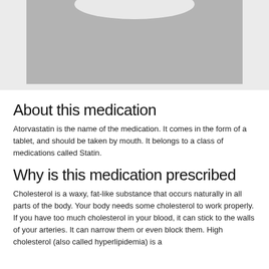[Figure (photo): Medication image placeholder – grey rectangle with white curved top element (pill/tablet image)]
About this medication
Atorvastatin is the name of the medication. It comes in the form of a tablet, and should be taken by mouth. It belongs to a class of medications called Statin.
Why is this medication prescribed
Cholesterol is a waxy, fat-like substance that occurs naturally in all parts of the body. Your body needs some cholesterol to work properly. If you have too much cholesterol in your blood, it can stick to the walls of your arteries. It can narrow them or even block them. High cholesterol (also called hyperlipidemia) is a